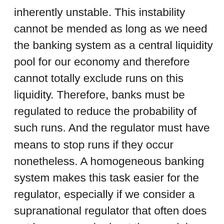inherently unstable. This instability cannot be mended as long as we need the banking system as a central liquidity pool for our economy and therefore cannot totally exclude runs on this liquidity. Therefore, banks must be regulated to reduce the probability of such runs. And the regulator must have means to stop runs if they occur nonetheless. A homogeneous banking system makes this task easier for the regulator, especially if we consider a supranational regulator that often does not know enough about the special institutions of a particular country but wants to apply his standardised methods that worked well in other countries. He could, so to say, create economies of scale if the banking system was the same everywhere. However, the